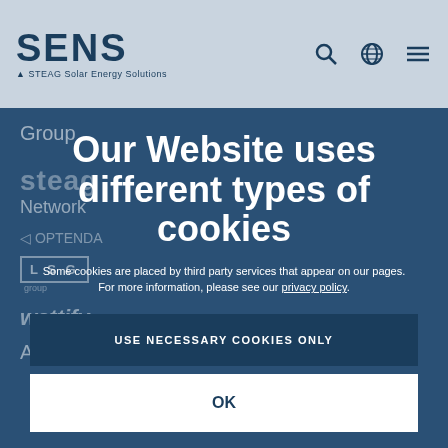SENS STEAG Solar Energy Solutions
Our Website uses different types of cookies
Some cookies are placed by third party services that appear on our pages. For more information, please see our privacy policy.
USE NECESSARY COOKIES ONLY
OK